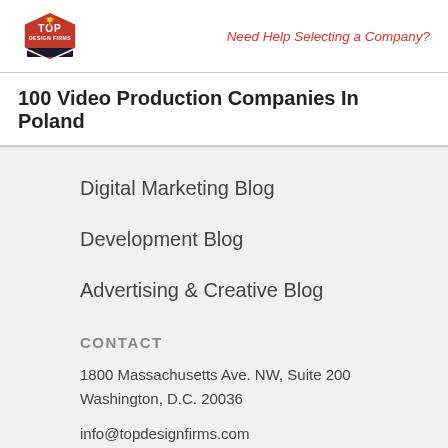[Figure (logo): Top Design Firms red hexagonal badge logo with trophy icon]
Need Help Selecting a Company?
100 Video Production Companies In Poland
Digital Marketing Blog
Development Blog
Advertising & Creative Blog
CONTACT
1800 Massachusetts Ave. NW, Suite 200
Washington, D.C. 20036
info@topdesignfirms.com